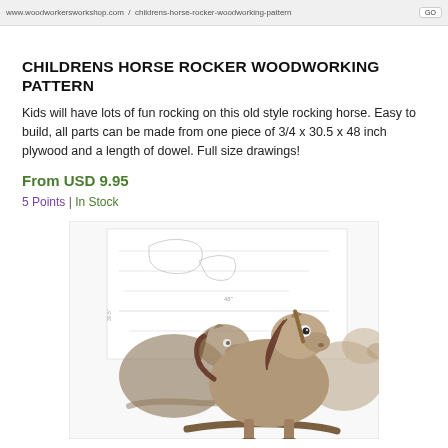www.woodworkersworkshop.com | CHILDRENS HORSE ROCKER WOODWORKING PATTERN
CHILDRENS HORSE ROCKER WOODWORKING PATTERN
Kids will have lots of fun rocking on this old style rocking horse. Easy to build, all parts can be made from one piece of 3/4 x 30.5 x 48 inch plywood and a length of dowel. Full size drawings!
From USD 9.95
5 Points | In Stock
[Figure (photo): Product photo showing a children's wooden rocking horse toy with cartoon-style horse faces, tan/brown coloring, on a white background with woodworking pattern drawings visible]